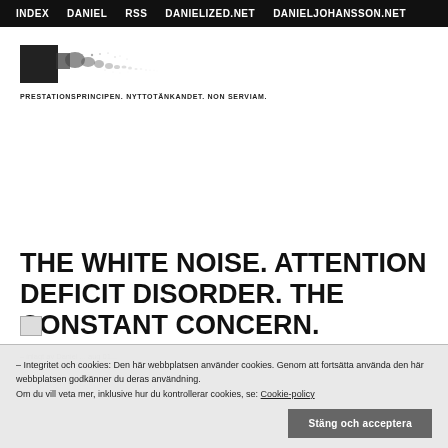INDEX  DANIEL  RSS  DANIELIZED.NET  DANIELJOHANSSON.NET
[Figure (logo): Logo image: dark square with ink splatter/spray effect dispersing to the right]
PRESTATIONSPRINCIPEN. NYTTOTÄNKANDET. NON SERVIAM.
THE WHITE NOISE. ATTENTION DEFICIT DISORDER. THE CONSTANT CONCERN.
inlagt av Daniel ... aug 01...
Integritet och cookies: Den här webbplatsen använder cookies. Genom att fortsätta använda den här webbplatsen godkänner du deras användning. Om du vill veta mer, inklusive hur du kontrollerar cookies, se: Cookie-policy
Stäng och acceptera